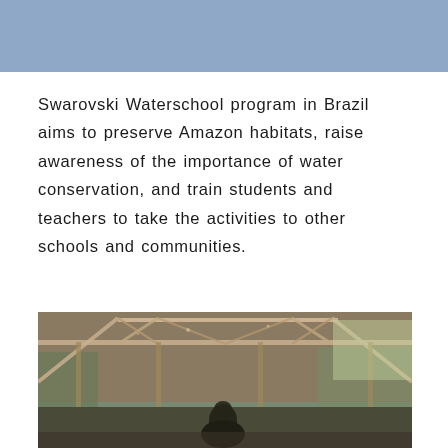[Figure (other): Light blue decorative header band at top of page]
Swarovski Waterschool program in Brazil aims to preserve Amazon habitats, raise awareness of the importance of water conservation, and train students and teachers to take the activities to other schools and communities.
[Figure (photo): Interior of a wooden building with exposed roof trusses and beams, resembling a school or community hall in a rural Amazon setting. A person is visible in the lower center of the image.]